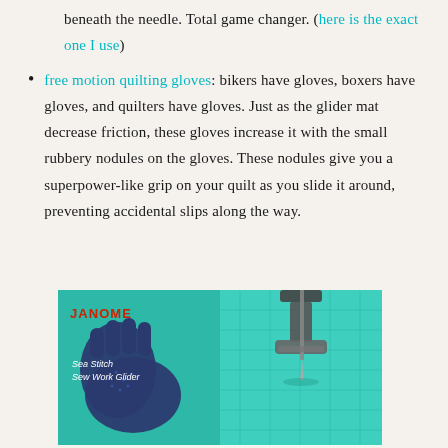beneath the needle. Total game changer. (here is the exact one I use)
free motion quilting gloves: bikers have gloves, boxers have gloves, and quilters have gloves. Just as the glider mat decrease friction, these gloves increase it with the small rubbery nodules on the gloves. These nodules give you a superpower-like grip on your quilt as you slide it around, preventing accidental slips along the way.
[Figure (photo): Two photos side by side: left shows a pair of dark blue quilting gloves on a teal Janome Sea Stitch mat; right shows a sewing machine foot/needle area on teal fabric.]